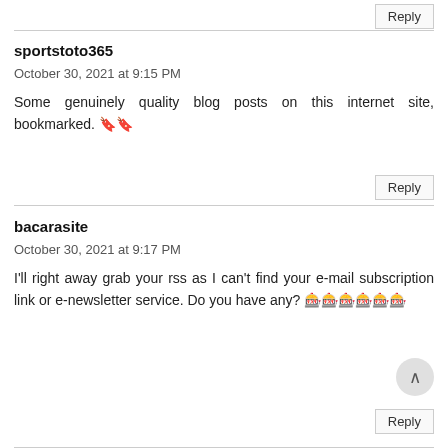Reply
sportstoto365
October 30, 2021 at 9:15 PM
Some genuinely quality blog posts on this internet site, bookmarked. 🔖🔖
Reply
bacarasite
October 30, 2021 at 9:17 PM
I'll right away grab your rss as I can't find your e-mail subscription link or e-newsletter service. Do you have any? 🎰🎰🎰🎰🎰🎰
Reply